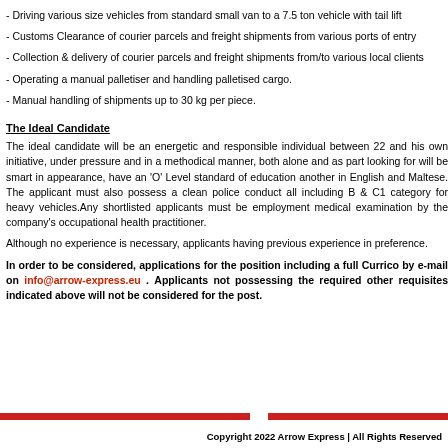- Driving various size vehicles from standard small van to a 7.5 ton vehicle with tail lift
- Customs Clearance of courier parcels and freight shipments from various ports of entry
- Collection & delivery of courier parcels and freight shipments from/to various local clients
- Operating a manual palletiser and handling palletised cargo.
- Manual handling of shipments up to 30 kg per piece.
The Ideal Candidate
The ideal candidate will be an energetic and responsible individual between 22 and his own initiative, under pressure and in a methodical manner, both alone and as part of a team. The person we are looking for will be smart in appearance, have an 'O' Level standard of education and be fluent in English and Maltese. The applicant must also possess a clean police conduct and a valid driving licence including B & C1 category for heavy vehicles. Any shortlisted applicants must be subjected to a pre-employment medical examination by the company's occupational health practitioner.
Although no experience is necessary, applicants having previous experience in this field will be given preference.
In order to be considered, applications for the position including a full Curriculum Vitae should be sent by e-mail on info@arrow-express.eu . Applicants not possessing the required qualifications and other requisites indicated above will not be considered for the post.
Copyright 2022 Arrow Express | All Rights Reserved